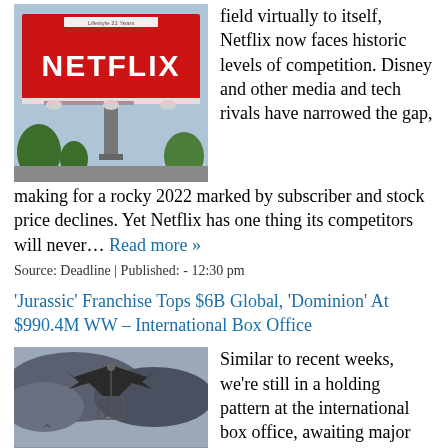[Figure (photo): Netflix billboard on a structure outdoors with trees and buildings visible in background]
field virtually to itself, Netflix now faces historic levels of competition. Disney and other media and tech rivals have narrowed the gap, making for a rocky 2022 marked by subscriber and stock price declines. Yet Netflix has one thing its competitors will never… Read more »
Source: Deadline | Published: - 12:30 pm
'Jurassic' Franchise Tops $6B Global, 'Dominion' At $990.4M WW – International Box Office
[Figure (photo): Scene from Jurassic movie showing a flying dinosaur carrying a cage over stormy clouds]
Similar to recent weeks, we're still in a holding pattern at the international box office, awaiting major